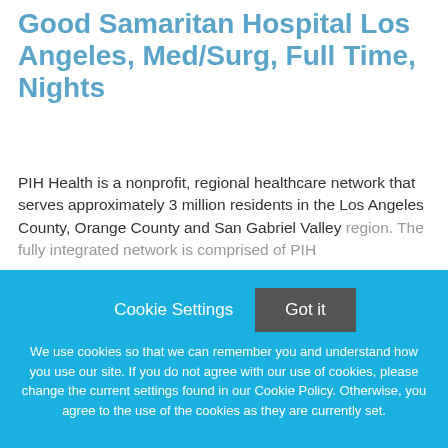Department Supervisor, PIH Health Good Samaritan Hospital Los Angeles, Med/Surg, Full Time, Nights
PIH Health is a nonprofit, regional healthcare network that serves approximately 3 million residents in the Los Angeles County, Orange County and San Gabriel Valley region. The fully integrated network is comprised of PIH
This job listing is no longer active.
Cookie Settings
Got it
We use cookies so that we can remember you and understand how you use our site. If you do not agree with our use of cookies, please change the current settings found in our Cookie Policy. Otherwise, you agree to the use of the cookies as they are currently set.